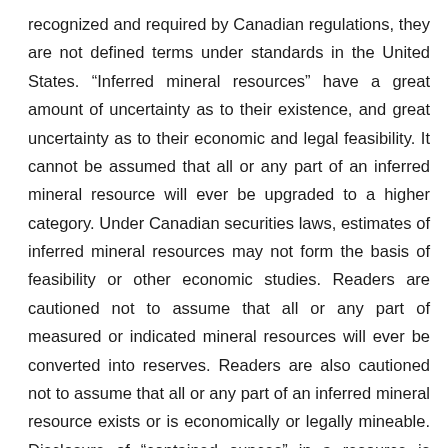recognized and required by Canadian regulations, they are not defined terms under standards in the United States. “Inferred mineral resources” have a great amount of uncertainty as to their existence, and great uncertainty as to their economic and legal feasibility. It cannot be assumed that all or any part of an inferred mineral resource will ever be upgraded to a higher category. Under Canadian securities laws, estimates of inferred mineral resources may not form the basis of feasibility or other economic studies. Readers are cautioned not to assume that all or any part of measured or indicated mineral resources will ever be converted into reserves. Readers are also cautioned not to assume that all or any part of an inferred mineral resource exists or is economically or legally mineable. Disclosure of “contained ounces” in a resource is permitted disclosure